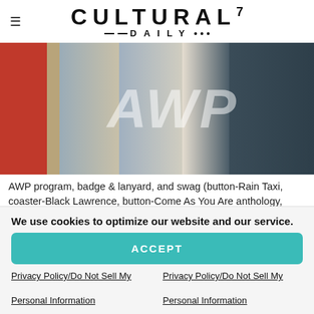CULTURAL7 DAILY
[Figure (photo): Photo of AWP program, badge and lanyard, and swag items including buttons and stickers from Rain Taxi, Black Lawrence, Come As You Are anthology, and saferlit]
AWP program, badge & lanyard, and swag (button-Rain Taxi, coaster-Black Lawrence, button-Come As You Are anthology, Editor E Kristen Anderson, sticker-saferlit
Having coffee with my friend Diane Goettel
We use cookies to optimize our website and our service.
ACCEPT
Privacy Policy/Do Not Sell My Personal Information
Privacy Policy/Do Not Sell My Personal Information